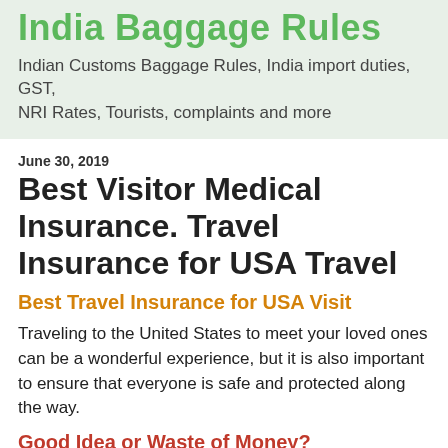India Baggage Rules
Indian Customs Baggage Rules, India import duties, GST, NRI Rates, Tourists, complaints and more
June 30, 2019
Best Visitor Medical Insurance. Travel Insurance for USA Travel
Best Travel Insurance for USA Visit
Traveling to the United States to meet your loved ones can be a wonderful experience, but it is also important to ensure that everyone is safe and protected along the way.
Good Idea or Waste of Money?
Traveling to USA always involves risks, such as the risk of getting sick or having an accident, losing or having your valuables stolen, missed flights and even the loss of life in extreme cases.